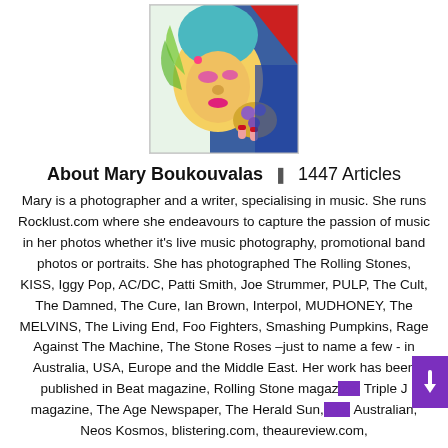[Figure (photo): Profile photo of Mary Boukouvalas — colorful artistic portrait showing a person with face paint and bright colors]
About Mary Boukouvalas  ❚  1447 Articles
Mary is a photographer and a writer, specialising in music. She runs Rocklust.com where she endeavours to capture the passion of music in her photos whether it's live music photography, promotional band photos or portraits. She has photographed The Rolling Stones, KISS, Iggy Pop, AC/DC, Patti Smith, Joe Strummer, PULP, The Cult, The Damned, The Cure, Ian Brown, Interpol, MUDHONEY, The MELVINS, The Living End, Foo Fighters, Smashing Pumpkins, Rage Against The Machine, The Stone Roses –just to name a few - in Australia, USA, Europe and the Middle East. Her work has been published in Beat magazine, Rolling Stone magazine, Triple J magazine, The Age Newspaper, The Herald Sun, The Australian, Neos Kosmos, blistering.com, theaureview.com,